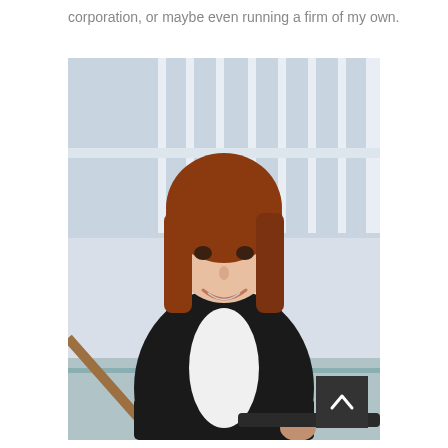corporation, or maybe even running a firm of my own.
[Figure (photo): A young woman with red hair and bangs, wearing a black blazer over a white top, smiling and standing near a staircase railing in a modern building with large windows in the background.]